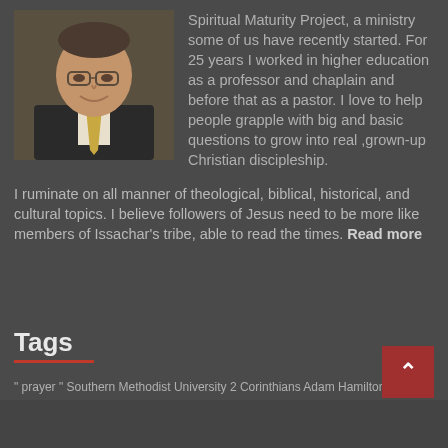[Figure (photo): Headshot of a middle-aged man in a dark suit with a gold tie, smiling, wearing glasses, against a dark background.]
Spiritual Maturity Project, a ministry some of us have recently started. For 25 years I worked in higher education as a professor and chaplain and before that as a pastor. I love to help people grapple with big and basic questions to grow into real ,grown-up Christian discipleship.
I ruminate on all manner of theological, biblical, historical, and cultural topics. I believe followers of Jesus need to be more like members of Issachar's tribe, able to read the times. Read more
Tags
" prayer " Southern Methodist University 2 Corinthians Adam Hamilton Bible